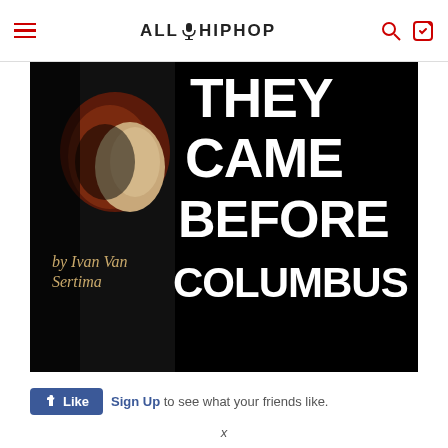ALLHIPHOP
[Figure (photo): Book cover of 'They Came Before Columbus' by Ivan Van Sertima. Dark/black background with large bold white text reading 'THEY CAME BEFORE COLUMBUS' and author credit 'by Ivan Van Sertima' in gold/cream italic text. A stylized face is partially visible on the left side.]
Like  Sign Up to see what your friends like.